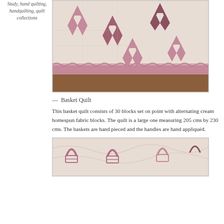Study, hand quilting, handquilting, quilt collections
[Figure (photo): Close-up photograph of a Basket Quilt showing basket blocks in mauve/rose and cream fabric with hand quilting and appliquéd handles, with a ruffled border visible]
— Basket Quilt
This basket quilt consists of 30 blocks set on point with alternating cream homespun fabric blocks. The quilt is a large one measuring 205 cms by 230 cms. The baskets are hand pieced and the handles are hand appliquéd.
[Figure (photo): Close-up photograph of quilt details showing basket appliqué blocks in mauve on cream fabric with visible hand quilting texture]